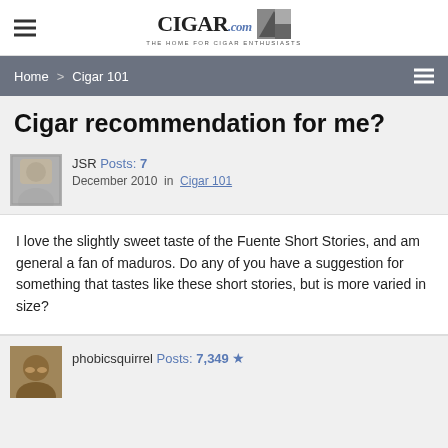CIGAR.com — THE HOME FOR CIGAR ENTHUSIASTS
Home > Cigar 101
Cigar recommendation for me?
JSR Posts: 7
December 2010 in Cigar 101
I love the slightly sweet taste of the Fuente Short Stories, and am general a fan of maduros. Do any of you have a suggestion for something that tastes like these short stories, but is more varied in size?
phobicsquirrel Posts: 7,349 ★